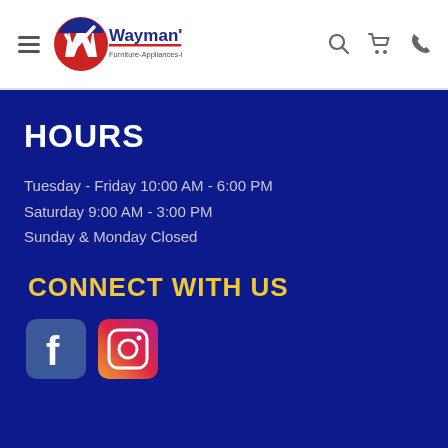Wayman's Furniture-Appliances-Mattresses navigation header
HOURS
Tuesday - Friday 10:00 AM - 6:00 PM
Saturday 9:00 AM - 3:00 PM
Sunday & Monday Closed
CONNECT WITH US
[Figure (logo): Facebook and Instagram social media icons]